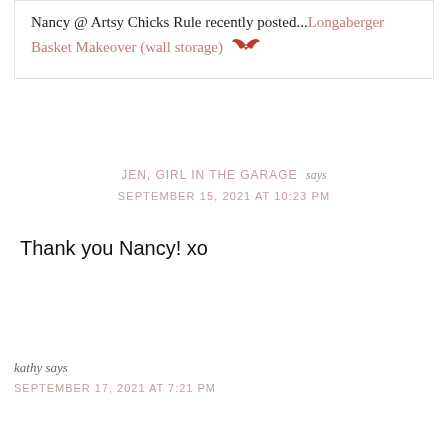Nancy @ Artsy Chicks Rule recently posted...Longaberger Basket Makeover (wall storage) [bird icon]
JEN, GIRL IN THE GARAGE says
SEPTEMBER 15, 2021 AT 10:23 PM
Thank you Nancy! xo
kathy says
SEPTEMBER 17, 2021 AT 7:21 PM